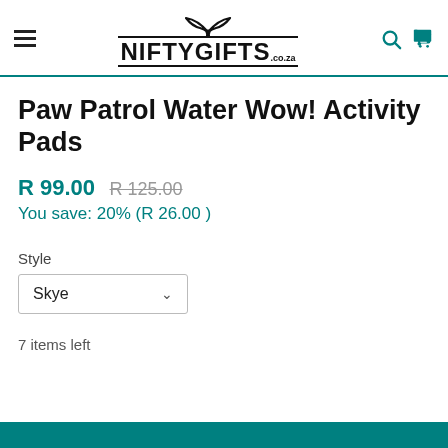NIFTYGIFTS.co.za
Paw Patrol Water Wow! Activity Pads
R 99.00  R 125.00
You save: 20% (R 26.00 )
Style
Skye
7 items left